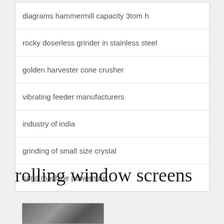diagrams hammermill capacity 3tom h
rocky doserless grinder in stainless steel
golden harvester cone crusher
vibrating feeder manufacturers
industry of india
grinding of small size crystal
sand machine powermax
rolling window screens
[Figure (photo): Partial photo of machinery or industrial equipment related to rolling window screens]